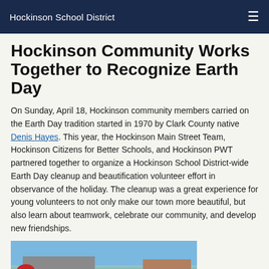Hockinson School District
Hockinson Community Works Together to Recognize Earth Day
On Sunday, April 18, Hockinson community members carried on the Earth Day tradition started in 1970 by Clark County native Denis Hayes. This year, the Hockinson Main Street Team, Hockinson Citizens for Better Schools, and Hockinson PWT partnered together to organize a Hockinson School District-wide Earth Day cleanup and beautification volunteer effort in observance of the holiday. The cleanup was a great experience for young volunteers to not only make our town more beautiful, but also learn about teamwork, celebrate our community, and develop new friendships.
[Figure (photo): Outdoor photo showing a school or community building under a blue sky with people visible in the foreground]